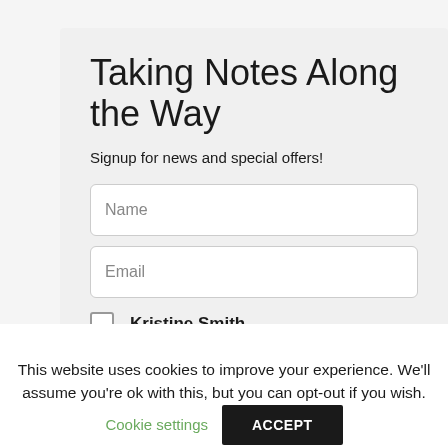Taking Notes Along the Way
Signup for news and special offers!
Name
Email
Kristine Smith
Alex Gordon
This website uses cookies to improve your experience. We'll assume you're ok with this, but you can opt-out if you wish.
Cookie settings
ACCEPT